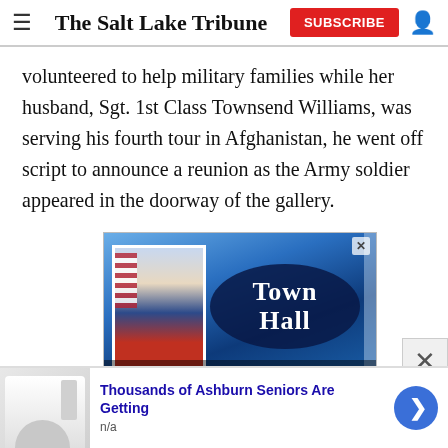The Salt Lake Tribune
volunteered to help military families while her husband, Sgt. 1st Class Townsend Williams, was serving his fourth tour in Afghanistan, he went off script to announce a reunion as the Army soldier appeared in the doorway of the gallery.
[Figure (screenshot): Advertisement: Town Hall event featuring a politician in a suit with American flag, text 'Town Hall' on dark blue oval background]
[Figure (infographic): Bottom advertisement banner: 'Thousands of Ashburn Seniors Are Getting' with image of bathtub/bathroom product, n/a subtext, and blue circular arrow button]